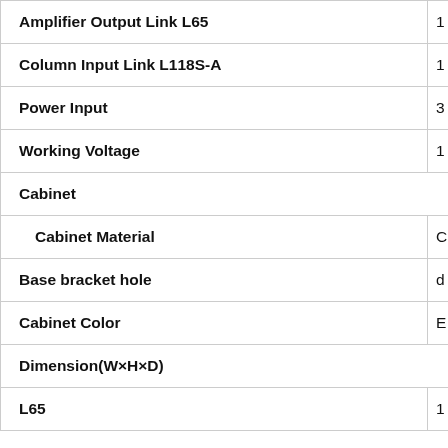| Feature | Value |
| --- | --- |
| Amplifier Output Link L65 | 1 |
| Column Input Link L118S-A | 1 |
| Power Input | 3 |
| Working Voltage | 1 |
| Cabinet |  |
| Cabinet Material | C |
| Base bracket hole | d |
| Cabinet Color | E |
| Dimension(W×H×D) |  |
| L65 | 1 |